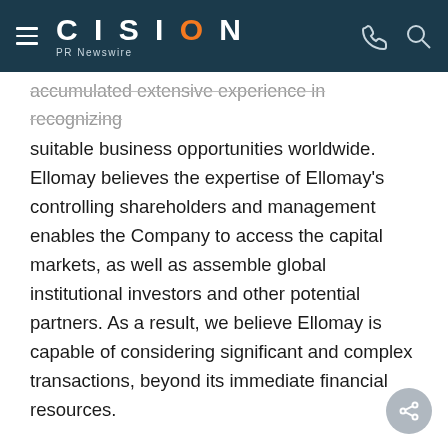CISION PR Newswire
accumulated extensive experience in recognizing suitable business opportunities worldwide. Ellomay believes the expertise of Ellomay’s controlling shareholders and management enables the Company to access the capital markets, as well as assemble global institutional investors and other potential partners. As a result, we believe Ellomay is capable of considering significant and complex transactions, beyond its immediate financial resources.
For more information about Ellomay, visit
http://www.ellomay.com.